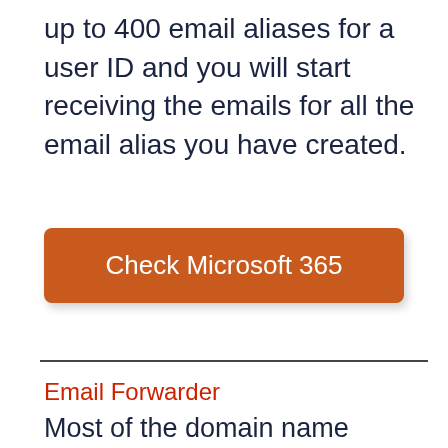up to 400 email aliases for a user ID and you will start receiving the emails for all the email alias you have created.
[Figure (other): Orange button with white text reading 'Check Microsoft 365']
Email Forwarder
Most of the domain name provider give email forwarding service with domain name purchase. I use Namecheap for